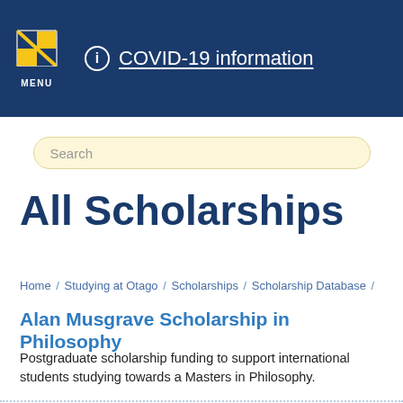MENU | COVID-19 information
Search
All Scholarships
Home / Studying at Otago / Scholarships / Scholarship Database /
Alan Musgrave Scholarship in Philosophy
Postgraduate scholarship funding to support international students studying towards a Masters in Philosophy.